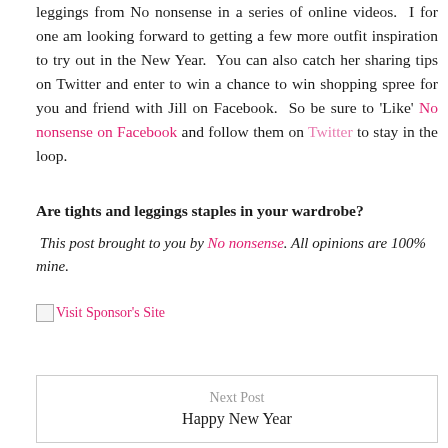leggings from No nonsense in a series of online videos. I for one am looking forward to getting a few more outfit inspiration to try out in the New Year. You can also catch her sharing tips on Twitter and enter to win a chance to win shopping spree for you and friend with Jill on Facebook. So be sure to 'Like' No nonsense on Facebook and follow them on Twitter to stay in the loop.
Are tights and leggings staples in your wardrobe?
This post brought to you by No nonsense. All opinions are 100% mine.
[Figure (other): Visit Sponsor's Site link with broken image placeholder]
Next Post
Happy New Year